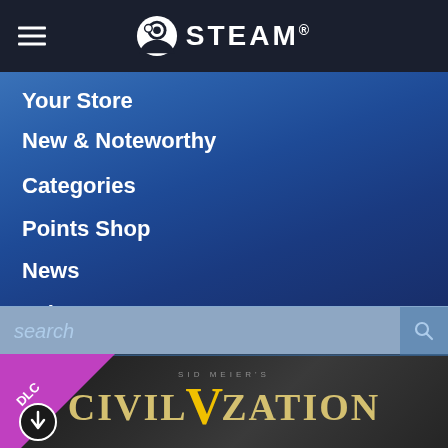STEAM
Your Store
New & Noteworthy
Categories
Points Shop
News
Labs
[Figure (screenshot): Search bar with placeholder text 'search' and magnifying glass icon]
[Figure (screenshot): Sid Meier's Civilization V game banner with DLC badge in top-left corner, showing download icon and 'DLC' text on a purple ribbon]